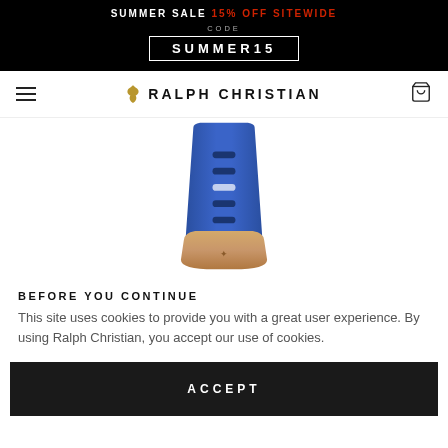SUMMER SALE 15% OFF SITEWIDE CODE SUMMER15
[Figure (logo): Ralph Christian brand logo with fleur-de-lis icon and text RALPH CHRISTIAN]
[Figure (photo): Blue silicone watch strap with rose gold buckle hardware, viewed from back showing adjustment holes]
BEFORE YOU CONTINUE
This site uses cookies to provide you with a great user experience. By using Ralph Christian, you accept our use of cookies.
ACCEPT